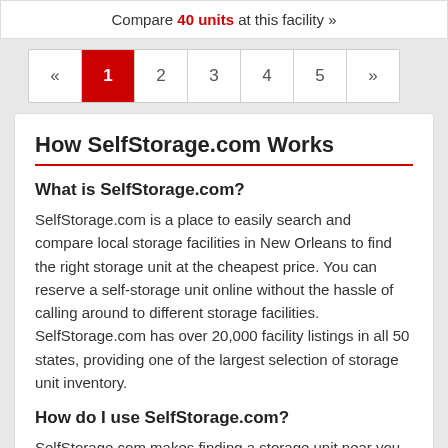Compare 40 units at this facility »
« 1 2 3 4 5 »
How SelfStorage.com Works
What is SelfStorage.com?
SelfStorage.com is a place to easily search and compare local storage facilities in New Orleans to find the right storage unit at the cheapest price. You can reserve a self-storage unit online without the hassle of calling around to different storage facilities. SelfStorage.com has over 20,000 facility listings in all 50 states, providing one of the largest selection of storage unit inventory.
How do I use SelfStorage.com?
SelfStorage.com makes finding a storage unit near you less stressful. You can search for storage